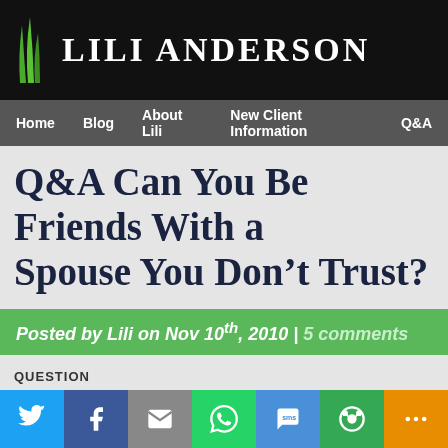LILI ANDERSON
Home | Blog | About Lili | New Client Information | Q&A
Q&A Can You Be Friends With a Spouse You Don't Trust?
Posted by Lili on Nov 10th, 2010 | 5 comments
QUESTION
My husband and I have serious marriage problems.  We've been married for 31